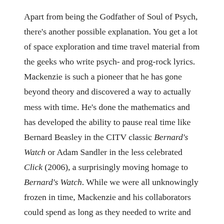Apart from being the Godfather of Soul of Psych, there's another possible explanation. You get a lot of space exploration and time travel material from the geeks who write psych- and prog-rock lyrics. Mackenzie is such a pioneer that he has gone beyond theory and discovered a way to actually mess with time. He's done the mathematics and has developed the ability to pause real time like Bernard Beasley in the CITV classic Bernard's Watch or Adam Sandler in the less celebrated Click (2006), a surprisingly moving homage to Bernard's Watch. While we were all unknowingly frozen in time, Mackenzie and his collaborators could spend as long as they needed to write and record their numerous albums. When unfroze time, it looked to the rest of us like the albums only took a day or two to complete, and all we could do was gasp in baffled awe. Either that or Mackenzie is related to Billy Whizz from The Beano.
Let's recap. In February, North Korea fired a ballistic missile into